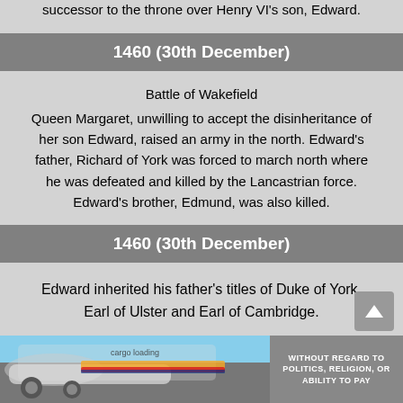successor to the throne over Henry VI's son, Edward.
1460 (30th December)
Battle of Wakefield
Queen Margaret, unwilling to accept the disinheritance of her son Edward, raised an army in the north. Edward's father, Richard of York was forced to march north where he was defeated and killed by the Lancastrian force. Edward's brother, Edmund, was also killed.
1460 (30th December)
Edward inherited his father's titles of Duke of York, Earl of Ulster and Earl of Cambridge.
[Figure (photo): Advertisement banner showing an airplane being loaded with cargo, with text 'WITHOUT REGARD TO POLITICS, RELIGION, OR ABILITY TO PAY']